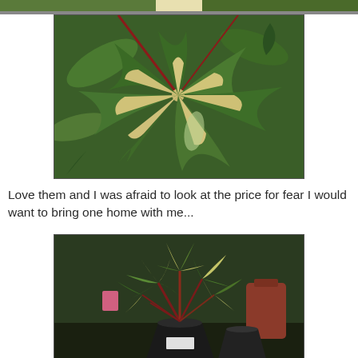[Figure (photo): Partial top of a photo showing variegated plant leaves with green and cream/white coloring]
[Figure (photo): Close-up photo of a variegated Fatsia japonica plant with large palmate leaves showing dark green with cream/white variegation patterns, displayed in a nursery or garden center]
Love them and I was afraid to look at the price for fear I would want to bring one home with me...
[Figure (photo): Photo of a variegated Fatsia japonica plant in a black pot at a nursery, showing multiple stems with palmate leaves in green and cream/yellow variegation]